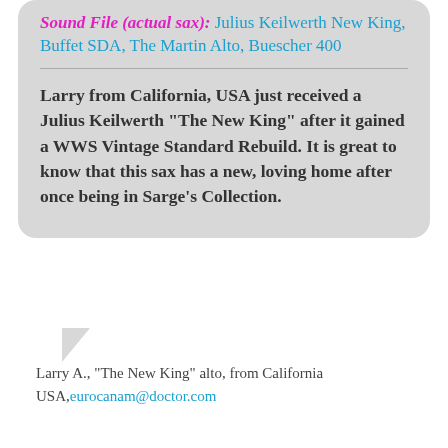Sound File (actual sax): Julius Keilwerth New King, Buffet SDA, The Martin Alto, Buescher 400
Larry from California, USA just received a Julius Keilwerth "The New King" after it gained a WWS Vintage Standard Rebuild. It is great to know that this sax has a new, loving home after once being in Sarge's Collection.
Larry A., "The New King" alto, from California USA, eurocanam@doctor.com